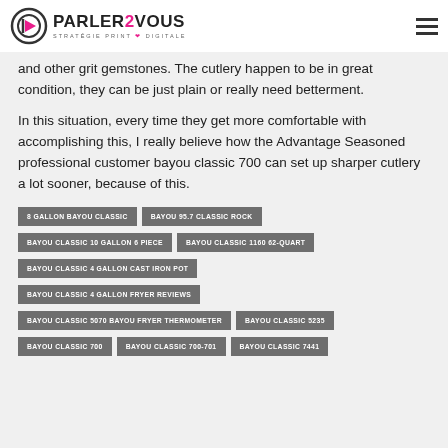PARLER2VOUS STRATÉGIE PRINT & DIGITALE
and other grit gemstones. The cutlery happen to be in great condition, they can be just plain or really need betterment.
In this situation, every time they get more comfortable with accomplishing this, I really believe how the Advantage Seasoned professional customer bayou classic 700 can set up sharper cutlery a lot sooner, because of this.
8 GALLON BAYOU CLASSIC
BAYOU 95.7 CLASSIC ROCK
BAYOU CLASSIC 10 GALLON 6 PIECE
BAYOU CLASSIC 1160 62-QUART
BAYOU CLASSIC 4 GALLON CAST IRON POT
BAYOU CLASSIC 4 GALLON FRYER REVIEWS
BAYOU CLASSIC 5070 BAYOU FRYER THERMOMETER
BAYOU CLASSIC 5235
BAYOU CLASSIC 700
BAYOU CLASSIC 700-701
BAYOU CLASSIC 7441